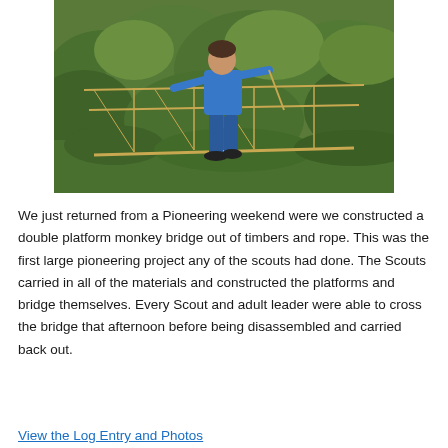[Figure (photo): A person wearing a blue shirt and blue pants walking across a rope monkey bridge suspended above green vegetation and trees. Ropes are visible on both sides as handrails.]
We just returned from a Pioneering weekend were we constructed a double platform monkey bridge out of timbers and rope. This was the first large pioneering project any of the scouts had done. The Scouts carried in all of the materials and constructed the platforms and bridge themselves. Every Scout and adult leader were able to cross the bridge that afternoon before being disassembled and carried back out.
View the Log Entry and Photos